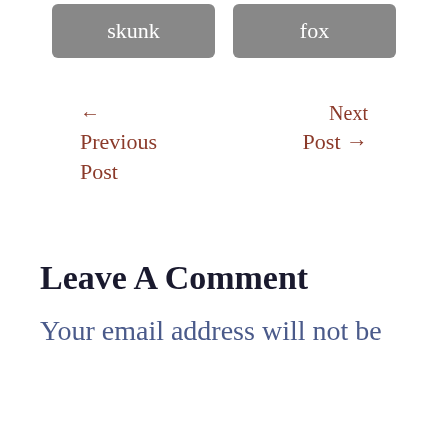[Figure (other): Two grey tag/button elements labeled 'skunk' and 'fox']
← Previous Post
Next Post →
Leave A Comment
Your email address will not be